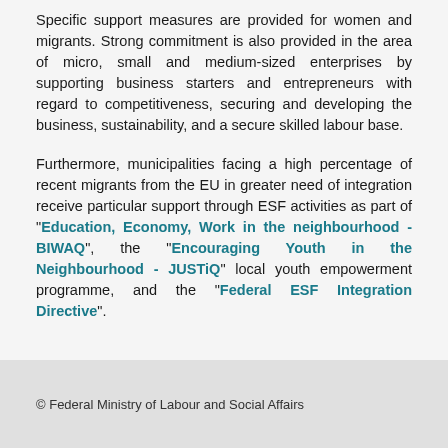Specific support measures are provided for women and migrants. Strong commitment is also provided in the area of micro, small and medium-sized enterprises by supporting business starters and entrepreneurs with regard to competitiveness, securing and developing the business, sustainability, and a secure skilled labour base.
Furthermore, municipalities facing a high percentage of recent migrants from the EU in greater need of integration receive particular support through ESF activities as part of "Education, Economy, Work in the neighbourhood - BIWAQ", the "Encouraging Youth in the Neighbourhood - JUSTiQ" local youth empowerment programme, and the "Federal ESF Integration Directive".
© Federal Ministry of Labour and Social Affairs